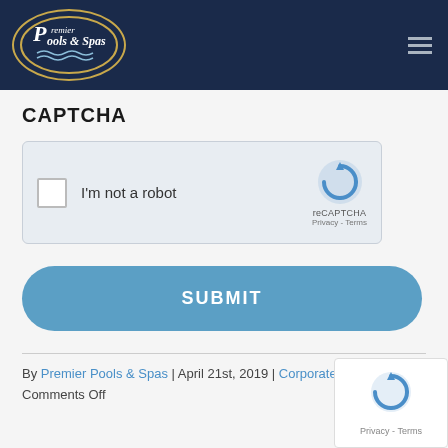[Figure (logo): Premier Pools & Spas logo in gold oval on dark navy header]
CAPTCHA
[Figure (other): reCAPTCHA widget with checkbox labeled 'I'm not a robot' and reCAPTCHA logo with Privacy - Terms links]
SUBMIT
By Premier Pools & Spas | April 21st, 2019 | Corporate Blogs | Comments Off
[Figure (other): reCAPTCHA Privacy - Terms popup in bottom right corner]